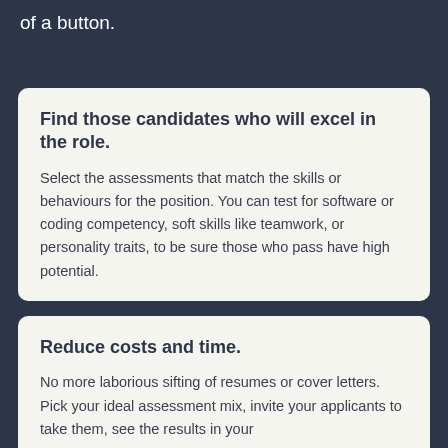of a button.
Find those candidates who will excel in the role.
Select the assessments that match the skills or behaviours for the position. You can test for software or coding competency, soft skills like teamwork, or personality traits, to be sure those who pass have high potential.
Reduce costs and time.
No more laborious sifting of resumes or cover letters. Pick your ideal assessment mix, invite your applicants to take them, see the results in your